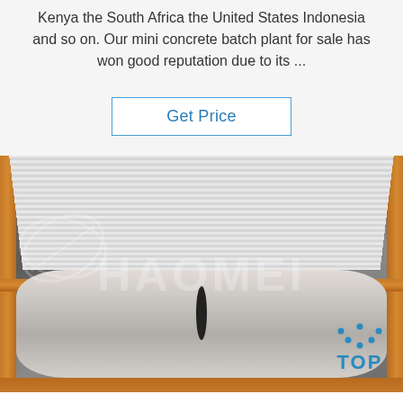Kenya the South Africa the United States Indonesia and so on. Our mini concrete batch plant for sale has won good reputation due to its ...
Get Price
[Figure (photo): A packaged/wrapped cylindrical product (roll) in a wooden crate with corrugated white sheets, watermarked with HAOMEI logo and TOP logo in bottom right corner.]